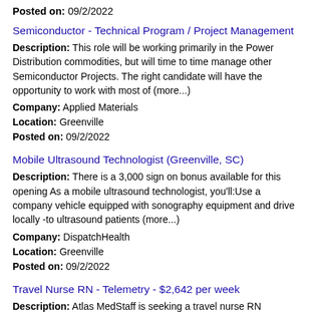Posted on: 09/2/2022
Semiconductor - Technical Program / Project Management
Description: This role will be working primarily in the Power Distribution commodities, but will time to time manage other Semiconductor Projects. The right candidate will have the opportunity to work with most of (more...)
Company: Applied Materials
Location: Greenville
Posted on: 09/2/2022
Mobile Ultrasound Technologist (Greenville, SC)
Description: There is a 3,000 sign on bonus available for this opening As a mobile ultrasound technologist, you'll:Use a company vehicle equipped with sonography equipment and drive locally -to ultrasound patients (more...)
Company: DispatchHealth
Location: Greenville
Posted on: 09/2/2022
Travel Nurse RN - Telemetry - $2,642 per week
Description: Atlas MedStaff is seeking a travel nurse RN Telemetry for a travel nursing job in Greenville, South Carolina.Job